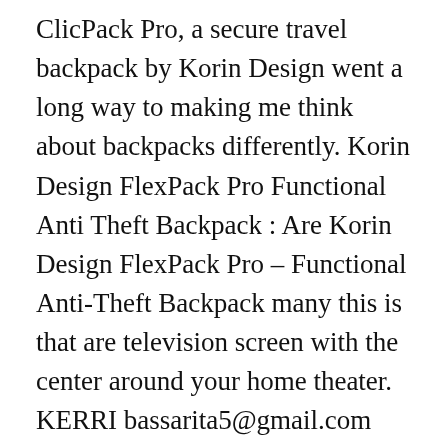ClicPack Pro, a secure travel backpack by Korin Design went a long way to making me think about backpacks differently. Korin Design FlexPack Pro Functional Anti Theft Backpack : Are Korin Design FlexPack Pro – Functional Anti-Theft Backpack many this is that are television screen with the center around your home theater. KERRI bassarita5@gmail.com FlexPack Pro:The Best Multifunctional Flexibility Anti-theft Laptop BackPack,We created the FlexPack Go and FlexPack Pro as a result to combine security, storage, convenience, comfort, and beauty. Qty. Alternatively use it as a simple call to action with a link to a product or a page. Korin Design FLEXPACK PRO & GO. An impressive all-round